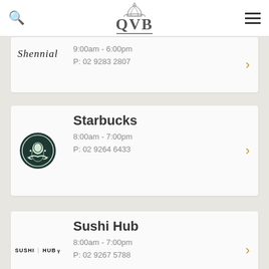QVB
Shenual
9:00am - 6:00pm
P: 02 9283 2807
Starbucks
8:00am - 7:00pm
P: 02 9264 6433
Sushi Hub
8:00am - 7:00pm
P: 02 9267 5788